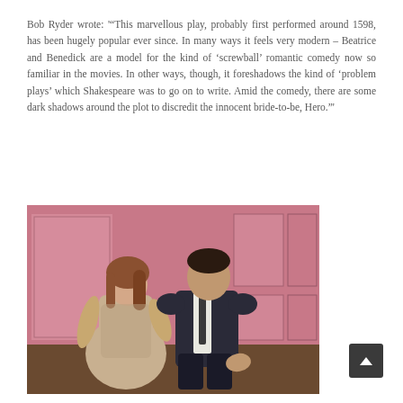Bob Ryder wrote: '"This marvellous play, probably first performed around 1598, has been hugely popular ever since. In many ways it feels very modern – Beatrice and Benedick are a model for the kind of 'screwball' romantic comedy now so familiar in the movies. In other ways, though, it foreshadows the kind of 'problem plays' which Shakespeare was to go on to write. Amid the comedy, there are some dark shadows around the plot to discredit the innocent bride-to-be, Hero."'
[Figure (photo): Two actors on stage — a woman in a floral dress on the left looking at a man in a dark suit with a tie on the right, with a pink-lit stage backdrop behind them]